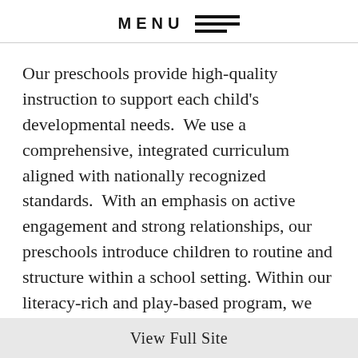MENU
Our preschools provide high-quality instruction to support each child's developmental needs.  We use a comprehensive, integrated curriculum aligned with nationally recognized standards.  With an emphasis on active engagement and strong relationships, our preschools introduce children to routine and structure within a school setting.  Within our literacy-rich and play-based program, we focus on social and emotional skills, language development, and pre-academic development, while promoting independence.  Children who attend D11 early childhood programs are learning
View Full Site